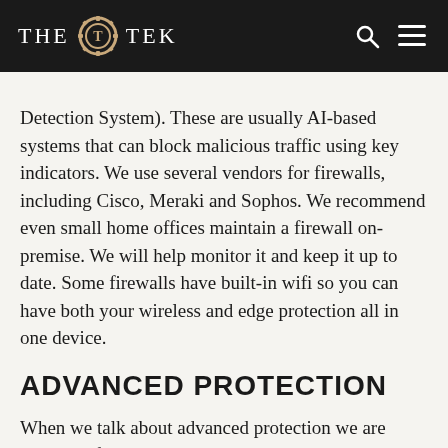THE TEK
Detection System). These are usually AI-based systems that can block malicious traffic using key indicators. We use several vendors for firewalls, including Cisco, Meraki and Sophos. We recommend even small home offices maintain a firewall on-premise. We will help monitor it and keep it up to date. Some firewalls have built-in wifi so you can have both your wireless and edge protection all in one device.
ADVANCED PROTECTION
When we talk about advanced protection we are usually referring to above and